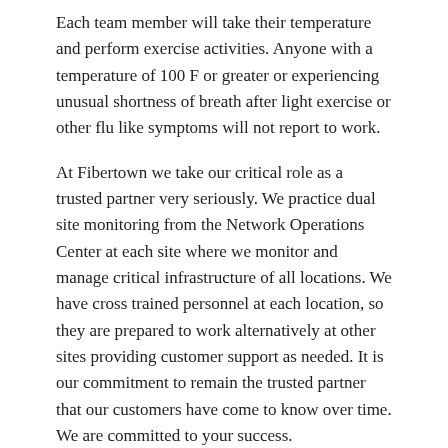Each team member will take their temperature and perform exercise activities. Anyone with a temperature of 100 F or greater or experiencing unusual shortness of breath after light exercise or other flu like symptoms will not report to work.
At Fibertown we take our critical role as a trusted partner very seriously. We practice dual site monitoring from the Network Operations Center at each site where we monitor and manage critical infrastructure of all locations. We have cross trained personnel at each location, so they are prepared to work alternatively at other sites providing customer support as needed. It is our commitment to remain the trusted partner that our customers have come to know over time. We are committed to your success.
We will continue to respond as necessary to changes in the rapidly developing COVID-19 situation.
Please contact the Network Operations Center with any